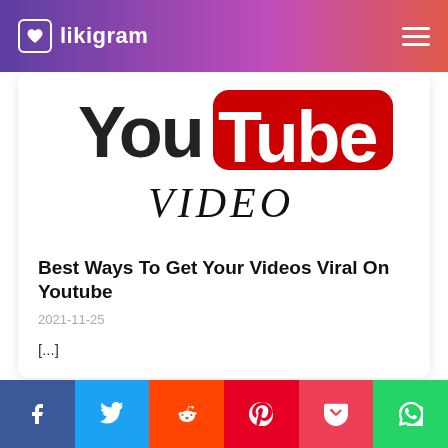likigram
[Figure (logo): YouTube logo with 'VIDEO' text below it in stylized handwritten font]
Best Ways To Get Your Videos Viral On Youtube
2021-11-25
[...]
Continue reading